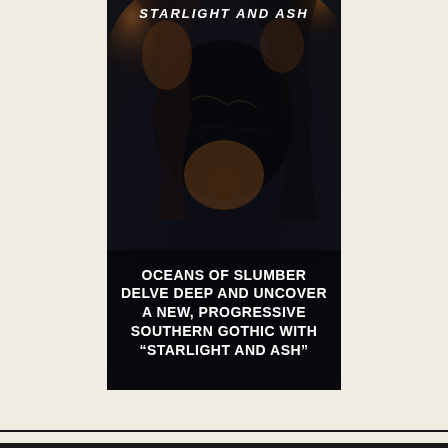[Figure (illustration): Dark, moody book cover or promotional image for 'Starlight and Ash' by Oceans of Slumber. Shows dark sculptural or painted figures in deep shadow with warm brown/orange highlights, gothic atmospheric style. Title 'STARLIGHT AND ASH' appears in italic white uppercase letters at the top of the image. Promotional text overlaid at the bottom reads: 'OCEANS OF SLUMBER DELVE DEEP AND UNCOVER A NEW, PROGRESSIVE SOUTHERN GOTHIC WITH "STARLIGHT AND ASH"']
STARLIGHT AND ASH
OCEANS OF SLUMBER DELVE DEEP AND UNCOVER A NEW, PROGRESSIVE SOUTHERN GOTHIC WITH "STARLIGHT AND ASH"